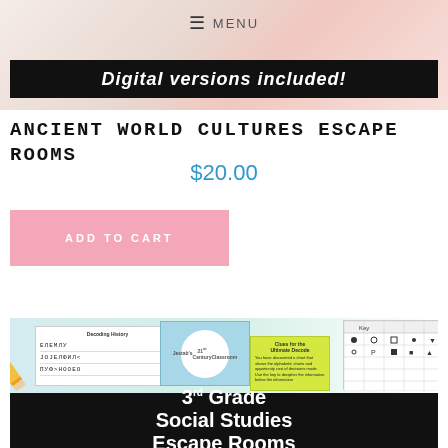≡ MENU
[Figure (photo): Header image showing 'Digital versions included!' banner on black background with decorative background]
ANCIENT WORLD CULTURES ESCAPE ROOMS
$20.00
ADD TO CART
[Figure (photo): Product collage showing worksheet papers with coded text, blue paper with 21st Century Classroom logo, yellow clue card, grid paper, and black banner reading '3rd Grade Social Studies Escape Rooms']